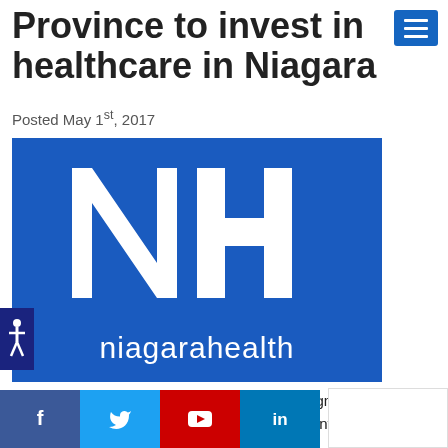Province to invest in healthcare in Niagara
Posted May 1st, 2017
[Figure (logo): Niagara Health (NH) logo — large white 'NH' letters on a royal blue background with 'niagarahealth' text below]
Our vision to build a healthier Niagara got a significant boost from the provincial government's announcement that it will be investing in healthcare in our region.